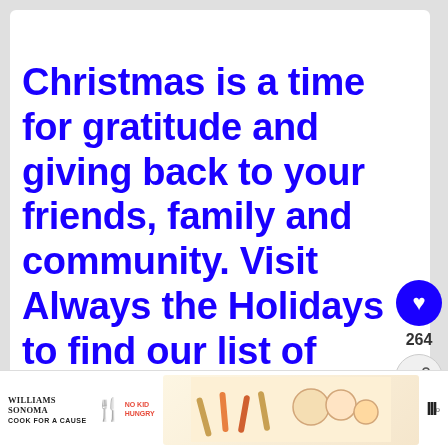Christmas is a time for gratitude and giving back to your friends, family and community. Visit Always the Holidays to find our list of inspiring Christmas quotes. 🎄🎁 ❤ #ChristmasGivingQu...
[Figure (screenshot): Social media post UI showing heart/like button with count 264, share button, What's Next panel with First Christmas thumbnail, and Click to Tweet button with Twitter bird icon]
[Figure (photo): Williams Sonoma No Kid Hungry Cook for a Cause advertisement banner with cookie decorating supplies image]